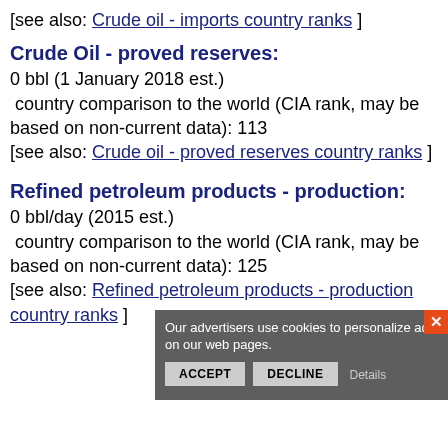[see also: Crude oil - imports country ranks ]
Crude Oil - proved reserves:
0 bbl (1 January 2018 est.)
 country comparison to the world (CIA rank, may be based on non-current data): 113
[see also: Crude oil - proved reserves country ranks ]
Refined petroleum products - production:
0 bbl/day (2015 est.)
 country comparison to the world (CIA rank, may be based on non-current data): 125
[see also: Refined petroleum products - production country ranks ]